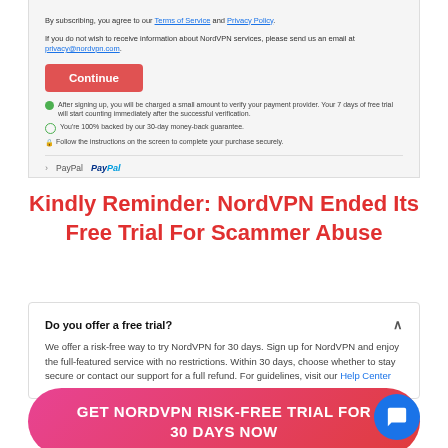[Figure (screenshot): NordVPN signup screenshot showing privacy email text, a red Continue button, payment verification notices with green check icons, and a PayPal payment option row at the bottom]
Kindly Reminder: NordVPN Ended Its Free Trial For Scammer Abuse
Do you offer a free trial? We offer a risk-free way to try NordVPN for 30 days. Sign up for NordVPN and enjoy the full-featured service with no restrictions. Within 30 days, choose whether to stay secure or contact our support for a full refund. For guidelines, visit our Help Center
GET NORDVPN RISK-FREE TRIAL FOR 30 DAYS NOW
Video Shows NordVPN Free Trial To NordVPN Risk...